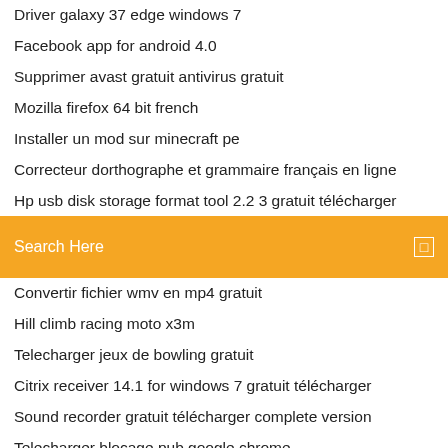Driver galaxy 37 edge windows 7
Facebook app for android 4.0
Supprimer avast gratuit antivirus gratuit
Mozilla firefox 64 bit french
Installer un mod sur minecraft pe
Correcteur dorthographe et grammaire français en ligne
Hp usb disk storage format tool 2.2 3 gratuit télécharger
Search Here
Convertir fichier wmv en mp4 gratuit
Hill climb racing moto x3m
Telecharger jeux de bowling gratuit
Citrix receiver 14.1 for windows 7 gratuit télécharger
Sound recorder gratuit télécharger complete version
Telecharger blocage pub google chrome
Télécharger gratuitement candy crush saga
Erreur le package redistribuable de lapplication dexécution c++
Telecharger blocage pub google chrome